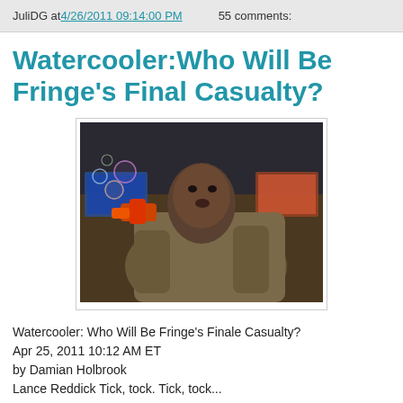JuliDG at 4/26/2011 09:14:00 PM    55 comments:
Watercooler:Who Will Be Fringe's Final Casualty?
[Figure (photo): Man wrapped in a blanket holding a bubble gun with colorful bubbles, sitting in what appears to be a lab or office setting. This appears to be a still from the TV show Fringe featuring Lance Reddick.]
Watercooler: Who Will Be Fringe's Finale Casualty?
Apr 25, 2011 10:12 AM ET
by Damian Holbrook
Lance Reddick Tick, tock. Tick, tock...